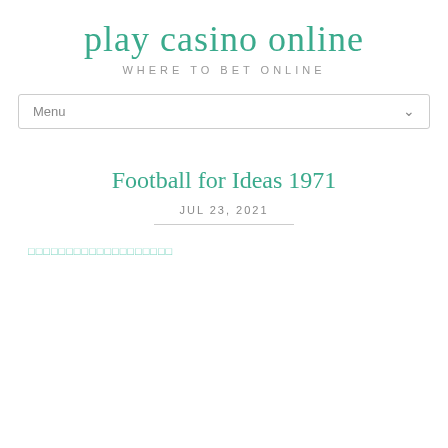play casino online
WHERE TO BET ONLINE
Menu
Football for Ideas 1971
JUL 23, 2021
▪▪▪▪▪▪▪▪▪▪▪▪▪▪▪▪▪▪▪